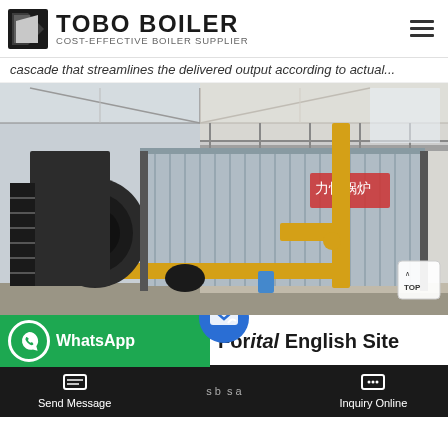TOBO BOILER - COST-EFFECTIVE BOILER SUPPLIER
cascade that streamlines the delivered output according to actual...
[Figure (photo): Industrial gas-fired boiler unit in a factory setting, showing a large corrugated metal boiler body with yellow gas piping and black burner assembly on the left, mounted in an industrial building with steel frame structure.]
WhatsApp
Forital English Site
s b  s a
Send Message
Inquiry Online